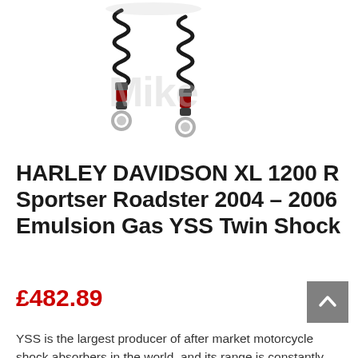[Figure (photo): Two YSS coilover twin shock absorbers with black coil springs and chrome/silver lower mounts on white background, with a watermark reading 'Mike']
HARLEY DAVIDSON XL 1200 R Sportser Roadster 2004 – 2006 Emulsion Gas YSS Twin Shock
£482.89
YSS is the largest producer of after market motorcycle shock absorbers in the world, and its range is constantly